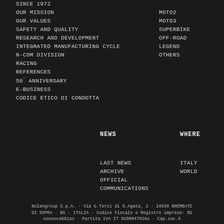SINCE 1972
OUR MISSION
OUR VALUES
SAFETY AND QUALITY
RESEARCH AND DEVELOPMENT
INTEGRATED MANUFACTURING CYCLE
N-COM DIVISION
RACING
REFERENCES
50° ANNIVERSARY
E-BUSINESS
CODICE ETICO DI CONDOTTA
MOTO2
MOTO3
SUPERBIKE
OFF-ROAD
LEGEND
OTHERS
NEWS
WHERE
LAST NEWS
ARCHIVE
OFFICIAL COMMUNICATIONS
ITALY
WORLD
Nolangroup S.p.A. - Via G.Terzi di S.Agata, 2 - 24030 BREMBATE DI SOPRA - BG - ITALIA · Codice Fiscale e Registro imprese: BG …